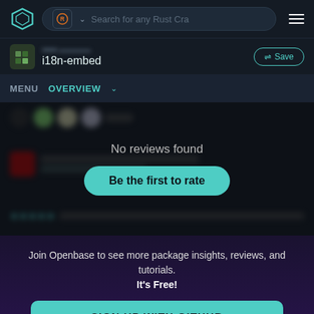[Figure (screenshot): Openbase website navigation bar with logo, Rust crate search pill, and hamburger menu]
i18n-embed  Save
MENU  OVERVIEW
No reviews found
Be the first to rate
Join Openbase to see more package insights, reviews, and tutorials. It's Free!
SIGN UP WITH GITHUB
By signing up, you agree to our terms and privacy policy